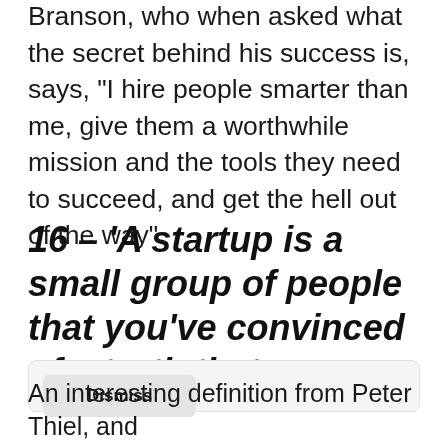Branson, who when asked what the secret behind his success is, says, “I hire people smarter than me, give them a worthwhile mission and the tools they need to succeed, and get the hell out of the way”.
16– ‘A startup is a small group of people that you’ve convinced of a truth that
Dismiss
An interesting definition from Peter Thiel, and